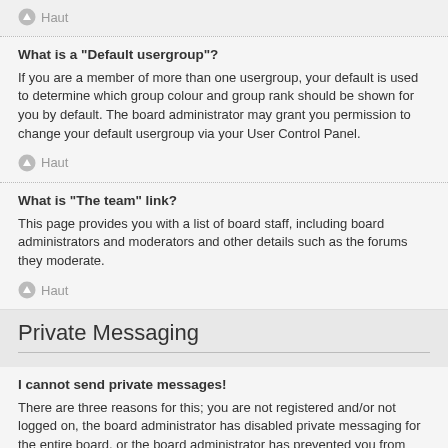Haut
What is a “Default usergroup”?
If you are a member of more than one usergroup, your default is used to determine which group colour and group rank should be shown for you by default. The board administrator may grant you permission to change your default usergroup via your User Control Panel.
Haut
What is “The team” link?
This page provides you with a list of board staff, including board administrators and moderators and other details such as the forums they moderate.
Haut
Private Messaging
I cannot send private messages!
There are three reasons for this; you are not registered and/or not logged on, the board administrator has disabled private messaging for the entire board, or the board administrator has prevented you from sending messages. Contact a board administrator for more information.